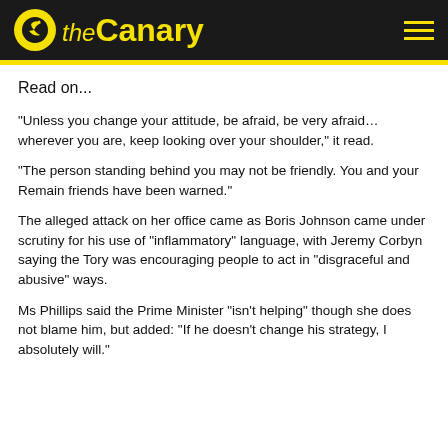the Canary
Read on...
“Unless you change your attitude, be afraid, be very afraid… wherever you are, keep looking over your shoulder,” it read.
“The person standing behind you may not be friendly. You and your Remain friends have been warned.”
The alleged attack on her office came as Boris Johnson came under scrutiny for his use of “inflammatory” language, with Jeremy Corbyn saying the Tory was encouraging people to act in “disgraceful and abusive” ways.
Ms Phillips said the Prime Minister “isn’t helping” though she does not blame him, but added: “If he doesn’t change his strategy, I absolutely will.”